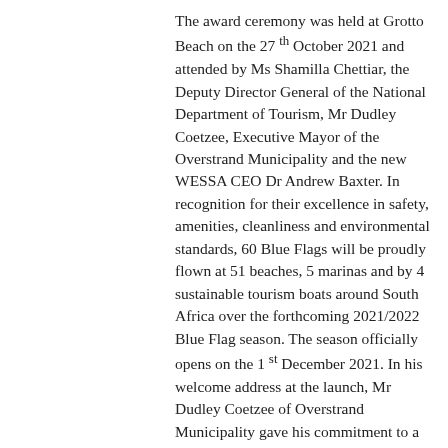The award ceremony was held at Grotto Beach on the 27 th October 2021 and attended by Ms Shamilla Chettiar, the Deputy Director General of the National Department of Tourism, Mr Dudley Coetzee, Executive Mayor of the Overstrand Municipality and the new WESSA CEO Dr Andrew Baxter. In recognition for their excellence in safety, amenities, cleanliness and environmental standards, 60 Blue Flags will be proudly flown at 51 beaches, 5 marinas and by 4 sustainable tourism boats around South Africa over the forthcoming 2021/2022 Blue Flag season. The season officially opens on the 1 st December 2021. In his welcome address at the launch, Mr Dudley Coetzee of Overstrand Municipality gave his commitment to a safe and clean